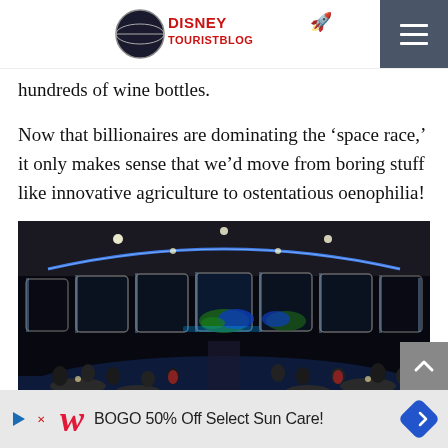Disney Tourist Blog
hundreds of wine bottles.
Now that billionaires are dominating the ‘space race,’ it only makes sense that we’d move from boring stuff like innovative agriculture to ostentatious oenophilia!
[Figure (photo): Interior of a space-themed restaurant with dark ambiance, blue glowing arc on ceiling, large windows showing Earth from orbit, diners seated at round tables on blue carpet, resembling a spacecraft interior.]
BOGO 50% Off Select Sun Care!